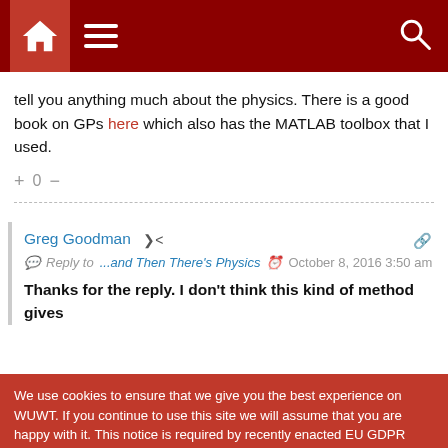Navigation bar with home, menu, and search icons
tell you anything much about the physics. There is a good book on GPs here which also has the MATLAB toolbox that I used.
+ 0 -
Greg Goodman
Reply to ...and Then There's Physics  October 8, 2016 3:50 am
Thanks for the reply. I don't think this kind of method gives
We use cookies to ensure that we give you the best experience on WUWT. If you continue to use this site we will assume that you are happy with it. This notice is required by recently enacted EU GDPR rules, and since WUWT is a globally read website, we need to keep the bureaucrats off our case! Cookie Policy
Close and accept
downward trend as part of that random walk, in which case I